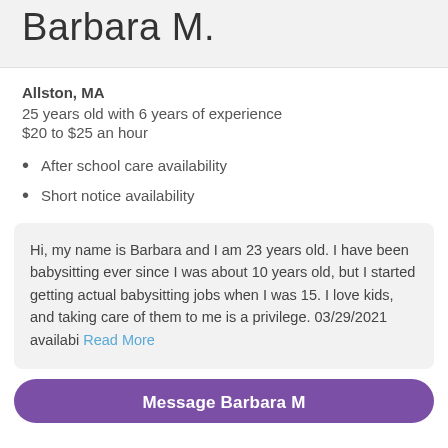Barbara M.
Allston, MA
25 years old with 6 years of experience
$20 to $25 an hour
After school care availability
Short notice availability
Hi, my name is Barbara and I am 23 years old. I have been babysitting ever since I was about 10 years old, but I started getting actual babysitting jobs when I was 15. I love kids, and taking care of them to me is a privilege. 03/29/2021 availabi Read More
Message Barbara M